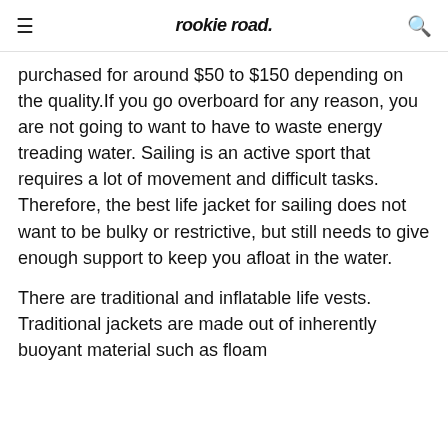rookie road
purchased for around $50 to $150 depending on the quality.If you go overboard for any reason, you are not going to want to have to waste energy treading water. Sailing is an active sport that requires a lot of movement and difficult tasks. Therefore, the best life jacket for sailing does not want to be bulky or restrictive, but still needs to give enough support to keep you afloat in the water.
There are traditional and inflatable life vests. Traditional jackets are made out of inherently buoyant material such as floam